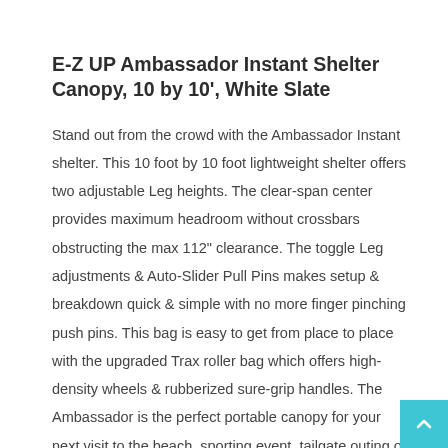E-Z UP Ambassador Instant Shelter Canopy, 10 by 10', White Slate
Stand out from the crowd with the Ambassador Instant shelter. This 10 foot by 10 foot lightweight shelter offers two adjustable Leg heights. The clear-span center provides maximum headroom without crossbars obstructing the max 112" clearance. The toggle Leg adjustments & Auto-Slider Pull Pins makes setup & breakdown quick & simple with no more finger pinching push pins. This bag is easy to get from place to place with the upgraded Trax roller bag which offers high-density wheels & rubberized sure-grip handles. The Ambassador is the perfect portable canopy for your next visit to the beach, sporting event, tailgate outing or picnic